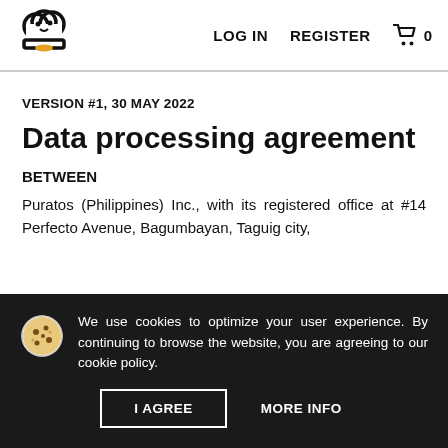LOG IN   REGISTER   🛒 0
VERSION #1, 30 MAY 2022
Data processing agreement
BETWEEN
Puratos (Philippines) Inc., with its registered office at #14 Perfecto Avenue, Bagumbayan, Taguig city,
We use cookies to optimize your user experience. By continuing to browse the website, you are agreeing to our cookie policy.